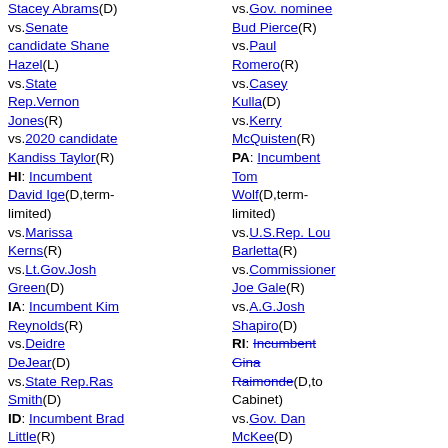Stacey Abrams(D) vs.Senate candidate Shane Hazel(L) vs.State Rep.Vernon Jones(R) vs.2020 candidate Kandiss Taylor(R) HI: Incumbent David Ige(D,term-limited) vs.Marissa Kerns(R) vs.Lt.Gov.Josh Green(D) IA: Incumbent Kim Reynolds(R) vs.Deidre DeJear(D) vs.State Rep.Ras Smith(D) ID: Incumbent Brad Little(R) vs.Raul Labrador(R) vs.Lt. Gov. Janice McGeachin(R) vs.Ammon Bundy(R) IL: Incumbent J.B. Pritzker(D) vs.State
vs.Gov. nominee Bud Pierce(R) vs.Paul Romero(R) vs.Casey Kulla(D) vs.Kerry McQuisten(R) PA: Incumbent Tom Wolf(D,term-limited) vs.U.S.Rep. Lou Barletta(R) vs.Commissioner Joe Gale(R) vs.A.G.Josh Shapiro(D) RI: Incumbent Gina Raimonde(D,to Cabinet) vs.Gov. Dan McKee(D) vs.Secy.Matt Brown(? D) vs.Mayor Allan Fung(R) vs.Luis-Daniel Munoz(D) vs.RI Secretary of State Nellie Gorhea(D)